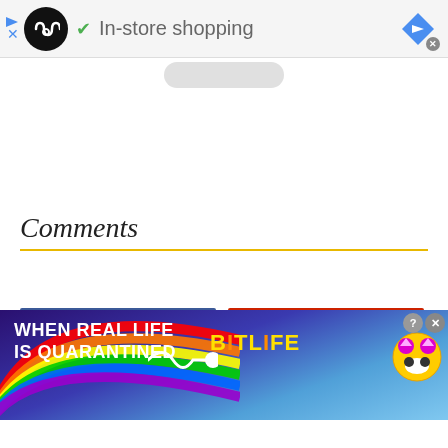[Figure (screenshot): Top ad banner with infinity loop logo, checkmark, and text 'In-store shopping', with a blue diamond navigation arrow on the right]
Comments
[Figure (screenshot): Facebook 'Connect with Facebook' button (blue) and Google+ 'Sign in with Google' button (red)]
[Figure (screenshot): Twitter 'Sign in with Twitter' button (light blue)]
[Figure (infographic): BitLife app advertisement banner: 'WHEN REAL LIFE IS QUARANTINED' with rainbow arc and BitLife logo in yellow]